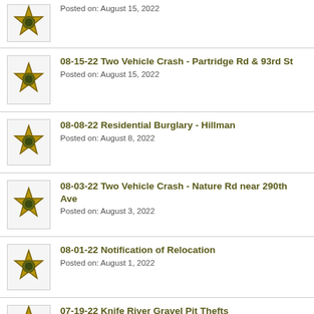Posted on: August 15, 2022
08-15-22 Two Vehicle Crash - Partridge Rd & 93rd St
Posted on: August 15, 2022
08-08-22 Residential Burglary - Hillman
Posted on: August 8, 2022
08-03-22 Two Vehicle Crash - Nature Rd near 290th Ave
Posted on: August 3, 2022
08-01-22 Notification of Relocation
Posted on: August 1, 2022
07-19-22 Knife River Gravel Pit Thefts
Posted on: July 19, 2022